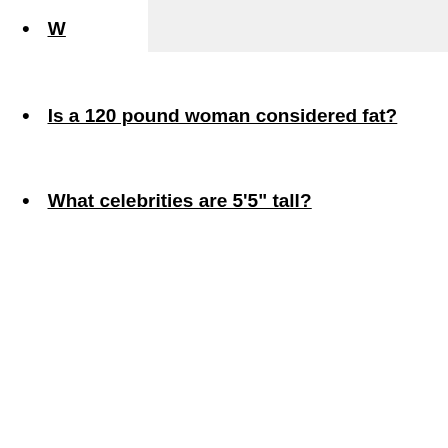W…
Is a 120 pound woman considered fat?
What celebrities are 5'5" tall?